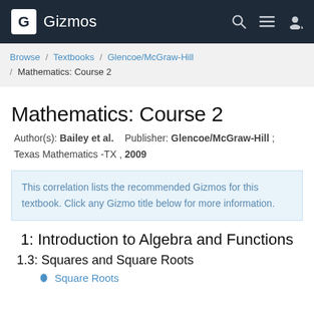Gizmos
Browse / Textbooks / Glencoe/McGraw-Hill / Mathematics: Course 2
Mathematics: Course 2
Author(s): Bailey et al.    Publisher: Glencoe/McGraw-Hill ; Texas Mathematics -TX , 2009
This correlation lists the recommended Gizmos for this textbook. Click any Gizmo title below for more information.
1: Introduction to Algebra and Functions
1.3: Squares and Square Roots
Square Roots